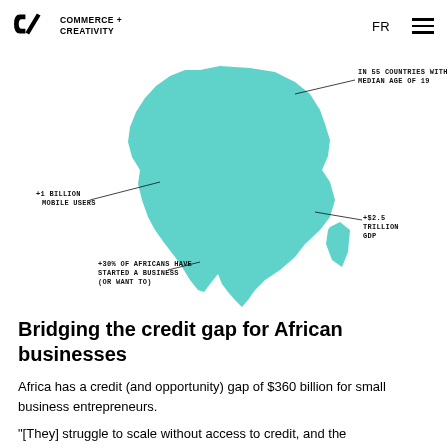C2 Commerce + Creativity | FR | Menu
[Figure (map): Teal silhouette map of Africa with annotation lines pointing to statistics: 'IN 55 COUNTRIES WITH A MEDIAN AGE OF 19', '+1 BILLION MOBILE USERS', '+$2.5 TRILLION GDP', '+30% OF AFRICANS HAVE STARTED A BUSINESS (OR WANT TO)']
Bridging the credit gap for African businesses
Africa has a credit (and opportunity) gap of $360 billion for small business entrepreneurs.
"[They] struggle to scale without access to credit, and the